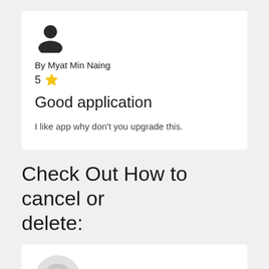[Figure (illustration): User profile silhouette icon in dark gray]
By Myat Min Naing
5 ★
Good application
I like app why don't you upgrade this.
Check Out How to cancel or delete:
[Figure (illustration): Circular avatar placeholder in light gray]